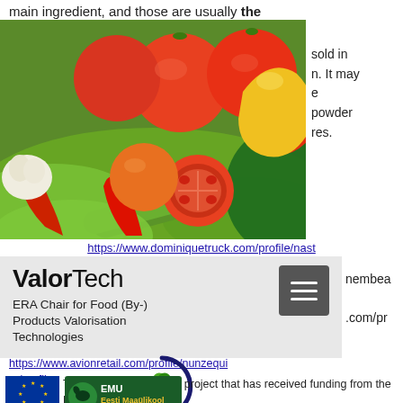main ingredient, and those are usually the
[Figure (photo): Photo of assorted fresh vegetables including tomatoes, bell peppers, cucumbers, lettuce, garlic, and red chili peppers]
sold in n. It may e powder res.
https://www.dominiquetruck.com/profile/nast
[Figure (screenshot): ValorTech ERA Chair for Food (By-) Products Valorisation Technologies website header with hamburger menu button]
nembea
.com/pr
https://www.avionretail.com/profile/nunzequiar/profile
[Figure (logo): ValorTech circular logo with leaf icons and circular arrow]
[Figure (logo): European Union flag logo]
This website is part of a project that has received funding from the European Union's
[Figure (logo): Eesti Maaülikool / Estonian University of Life Sciences (EMU) logo]